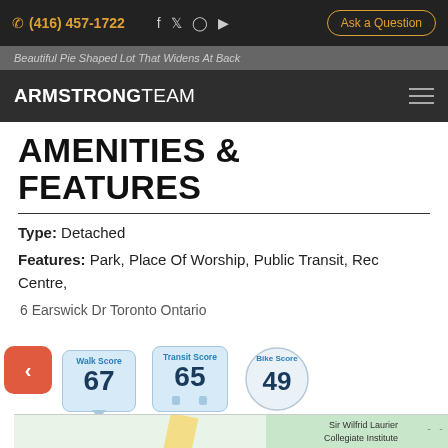(416) 457-1722  f  Twitter  Instagram  YouTube  Ask a Question
ARMSTRONGTEAM
AMENITIES & FEATURES
Type: Detached
Features: Park, Place Of Worship, Public Transit, Rec Centre,
6 Earswick Dr Toronto Ontario
[Figure (infographic): Walk Score 67, Transit Score 65, Bike Score 49 badges with a map below showing Map and Satellite tabs, and a back arrow button. Sir Wilfrid Laurier Collegiate Institute and Guild Park labels visible on map.]